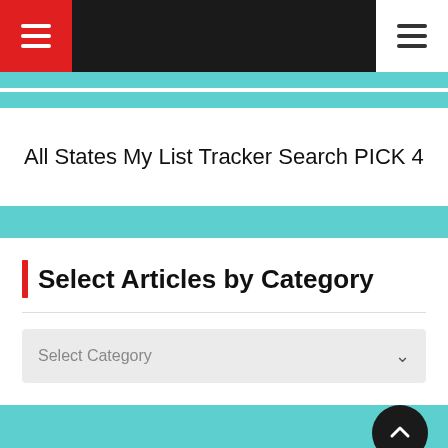Navigation bar with hamburger menu icons
All States My List Tracker Search PICK 4
Select Articles by Category
Select Category
Daily Workouts
Lottery Tools